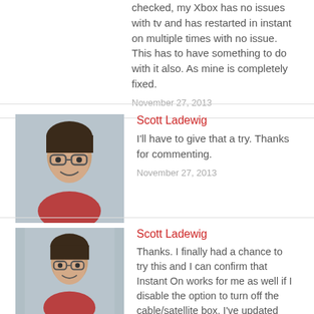checked, my Xbox has no issues with tv and has restarted in instant on multiple times with no issue. This has to have something to do with it also. As mine is completely fixed.
November 27, 2013
Scott Ladewig
I'll have to give that a try. Thanks for commenting.
November 27, 2013
Scott Ladewig
Thanks. I finally had a chance to try this and I can confirm that Instant On works for me as well if I disable the option to turn off the cable/satellite box. I've updated the post to reflect this new info.
December 7, 2013